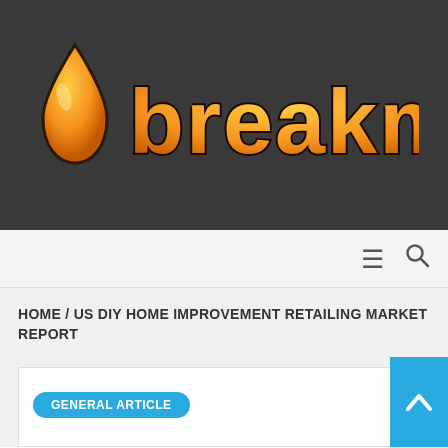[Figure (logo): Breakmil logo: orange water droplet icon followed by bold orange text 'breakmil' on dark grey background]
Navigation bar with hamburger menu icon and search icon
HOME / US DIY HOME IMPROVEMENT RETAILING MARKET REPORT
GENERAL ARTICLE